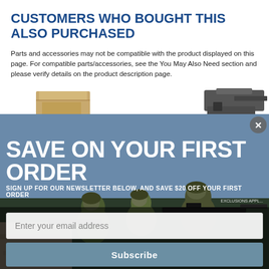CUSTOMERS WHO BOUGHT THIS ALSO PURCHASED
Parts and accessories may not be compatible with the product displayed on this page. For compatible parts/accessories, see the You May Also Need section and please verify details on the product description page.
[Figure (photo): Product images partially visible: cardboard box on left, rifle/firearm parts on right, partially obscured by modal overlay]
[Figure (photo): Modal popup overlay showing military soldiers aiming rifles, with promotional text 'SAVE ON YOUR FIRST ORDER', newsletter signup form with email input field and Subscribe button, and a close (X) button in top right corner]